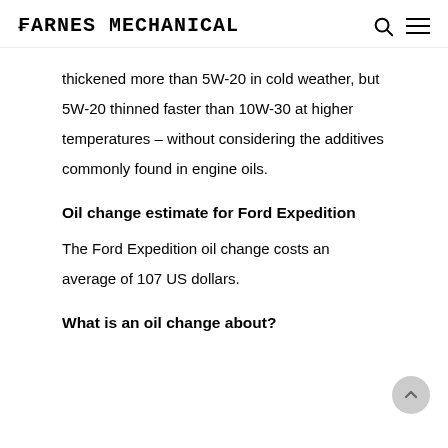CARNES MECHANICAL
thickened more than 5W-20 in cold weather, but 5W-20 thinned faster than 10W-30 at higher temperatures – without considering the additives commonly found in engine oils.
Oil change estimate for Ford Expedition
The Ford Expedition oil change costs an average of 107 US dollars.
What is an oil change about?